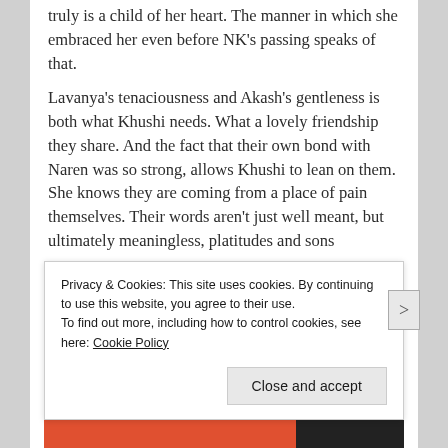truly is a child of her heart. The manner in which she embraced her even before NK's passing speaks of that.
Lavanya's tenaciousness and Akash's gentleness is both what Khushi needs. What a lovely friendship they share. And the fact that their own bond with Naren was so strong, allows Khushi to lean on them. She knows they are coming from a place of pain themselves. Their words aren't just well meant, but ultimately meaningless, platitudes and sons
Privacy & Cookies: This site uses cookies. By continuing to use this website, you agree to their use.
To find out more, including how to control cookies, see here: Cookie Policy
Close and accept